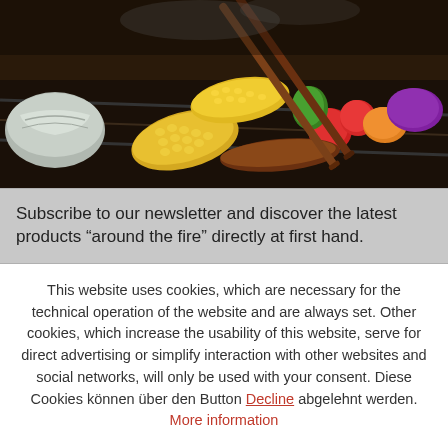[Figure (photo): BBQ grill scene with corn on the cob, grilled vegetables including tomatoes, peppers, onions, and foil-wrapped food, being handled with metal tongs]
Subscribe to our newsletter and discover the latest products "around the fire" directly at first hand.
This website uses cookies, which are necessary for the technical operation of the website and are always set. Other cookies, which increase the usability of this website, serve for direct advertising or simplify interaction with other websites and social networks, will only be used with your consent. Diese Cookies können über den Button Decline abgelehnt werden. More information
Configure
Accept all